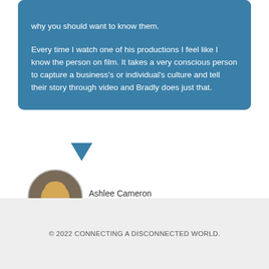why you should want to know them.
Every time I watch one of his productions I feel like I know the person on film. It takes a very conscious person to capture a business's or individual's culture and tell their story through video and Bradly does just that.
[Figure (photo): Circular profile photo of Ashlee Cameron, a woman with long blonde hair, seated in a dark top]
Ashlee Cameron
© 2022 CONNECTING A DISCONNECTED WORLD.